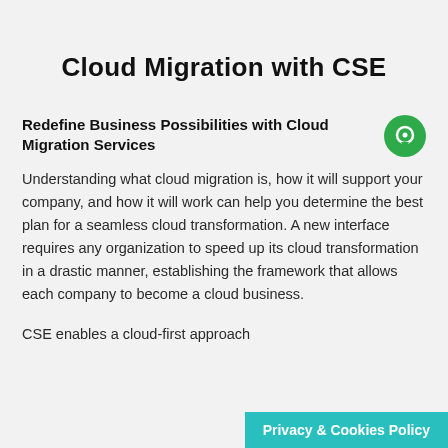Cloud Migration with CSE
Redefine Business Possibilities with Cloud Migration Services
Understanding what cloud migration is, how it will support your company, and how it will work can help you determine the best plan for a seamless cloud transformation. A new interface requires any organization to speed up its cloud transformation in a drastic manner, establishing the framework that allows each company to become a cloud business.
CSE enables a cloud-first approach
Privacy & Cookies Policy